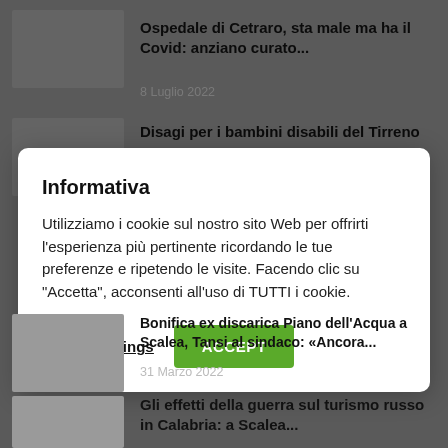Ospedale di Cetraro, sta male ma ha il Covid: anziano curato...
8 Luglio 2022
Disagi per i bambini disabili del Tirreno
Informativa
Utilizziamo i cookie sul nostro sito Web per offrirti l'esperienza più pertinente ricordando le tue preferenze e ripetendo le visite. Facendo clic su "Accetta", acconsenti all'uso di TUTTI i cookie.
Cookie settings
ACCEPT
Bonifica ex discarica Piano dell'Acqua a Scalea, Tansi al sindaco: «Ancora...
31 Marzo 2022
Gli effetti della guerra sul turismo russo in Calabria: a Scalea...
26 Marzo 2022